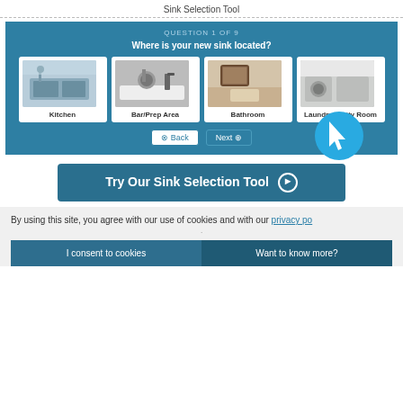Sink Selection Tool
[Figure (screenshot): Interactive quiz interface showing 'QUESTION 1 OF 9' with the question 'Where is your new sink located?' and four image options: Kitchen, Bar/Prep Area, Bathroom, Laundry/Utility Room. Back and Next navigation buttons are shown below, with a teal cursor pointer bubble overlay.]
[Figure (infographic): Teal call-to-action button reading 'Try Our Sink Selection Tool' with a circled right-arrow icon.]
By using this site, you agree with our use of cookies and with our privacy po...
I consent to cookies
Want to know more?